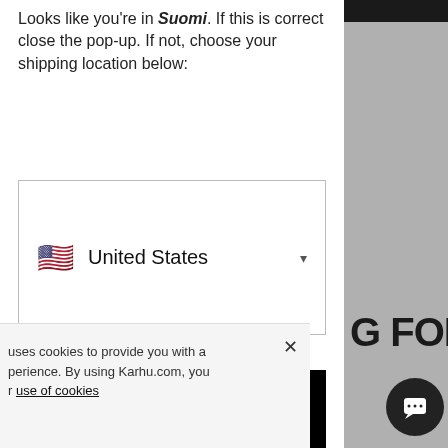Looks like you're in Suomi. If this is correct close the pop-up. If not, choose your shipping location below:
[Figure (screenshot): Dropdown selector showing US flag emoji and 'United States' with a dropdown arrow, inside a bordered white box]
[Figure (screenshot): Black button with white text 'Go →']
Can't find your location? We might have a store in your area.
[Figure (screenshot): Right side of webpage showing hamburger menu icon, cart icon, bold text 'G FOR', and italic body text partially visible behind popup]
uses cookies to provide you with a perience. By using Karhu.com, you r use of cookies
[Figure (screenshot): Chat support button - dark circle with chat icon, bottom right]